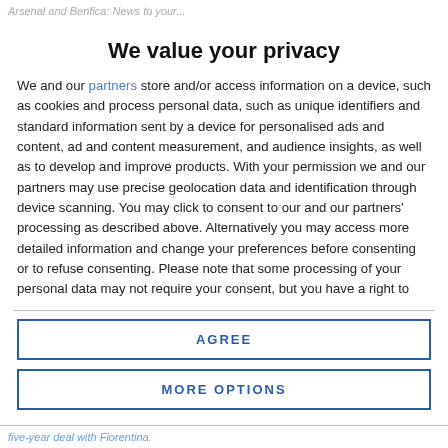Arsenal and Benfica: News to your...
We value your privacy
We and our partners store and/or access information on a device, such as cookies and process personal data, such as unique identifiers and standard information sent by a device for personalised ads and content, ad and content measurement, and audience insights, as well as to develop and improve products. With your permission we and our partners may use precise geolocation data and identification through device scanning. You may click to consent to our and our partners' processing as described above. Alternatively you may access more detailed information and change your preferences before consenting or to refuse consenting. Please note that some processing of your personal data may not require your consent, but you have a right to
AGREE
MORE OPTIONS
five-year deal with Fiorentina.